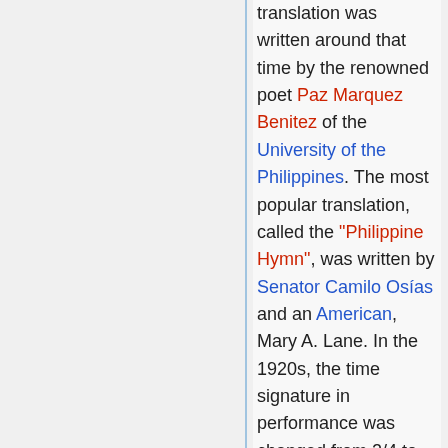translation was written around that time by the renowned poet Paz Marquez Benitez of the University of the Philippines. The most popular translation, called the "Philippine Hymn", was written by Senator Camilo Osías and an American, Mary A. Lane. In the 1920s, the time signature in performance was changed from 2/4 to 4/4 to facilitate its singing and the key was changed from the original C major to G.[10] However, this change was not codified into law. The anthem was played alongside the United States anthem, "The Star-Spangled Banner", which was adopted